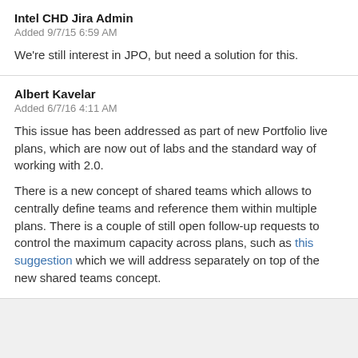Intel CHD Jira Admin
Added 9/7/15 6:59 AM
We're still interest in JPO, but need a solution for this.
Albert Kavelar
Added 6/7/16 4:11 AM
This issue has been addressed as part of new Portfolio live plans, which are now out of labs and the standard way of working with 2.0.
There is a new concept of shared teams which allows to centrally define teams and reference them within multiple plans. There is a couple of still open follow-up requests to control the maximum capacity across plans, such as this suggestion which we will address separately on top of the new shared teams concept.